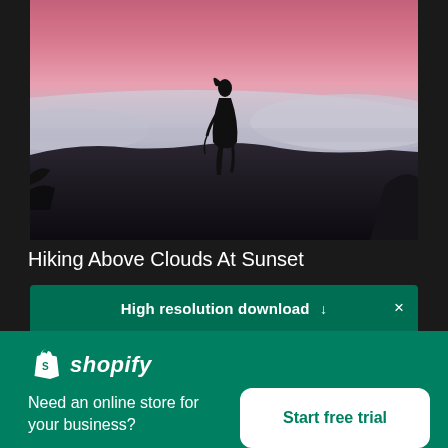[Figure (photo): Silhouette of a person standing on a hillside above clouds at sunset, with pink and purple sky in the background]
Hiking Above Clouds At Sunset
High resolution download ↓
[Figure (logo): Shopify logo — shopping bag icon and italic shopify wordmark in white]
Need an online store for your business?
Start free trial